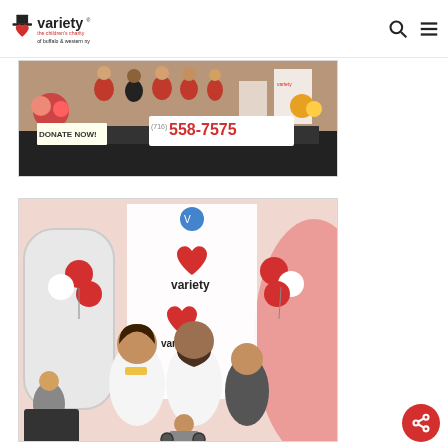Variety – The Children's Charity of Buffalo & Western NY
[Figure (photo): Group of people in red shirts standing on a stage at a charity event with a sign reading 'DONATE NOW' and phone number (716) 558-7575, with flowers visible on a table.]
[Figure (photo): Family of three adults and a child in a wheelchair posing in front of a Variety charity backdrop with red and white balloons, at an indoor charity event.]